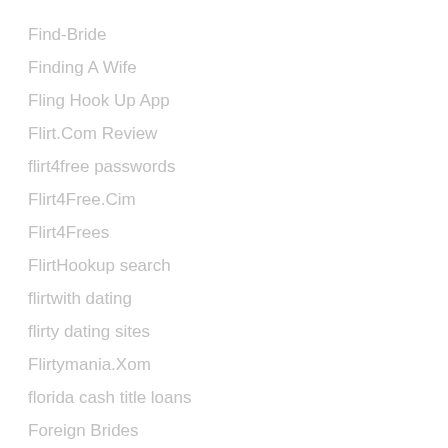Find-Bride
Finding A Wife
Fling Hook Up App
Flirt.Com Review
flirt4free passwords
Flirt4Free.Cim
Flirt4Frees
FlirtHookup search
flirtwith dating
flirty dating sites
Flirtymania.Xom
florida cash title loans
Foreign Brides
Foreign Brides Stories
foreign girlfriend
Foreign Wife
Foreign Wives
Foreign Women